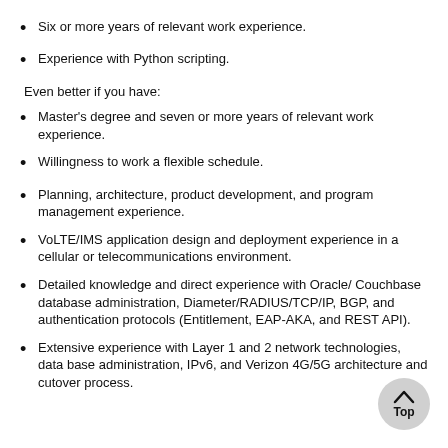Six or more years of relevant work experience.
Experience with Python scripting.
Even better if you have:
Master's degree and seven or more years of relevant work experience.
Willingness to work a flexible schedule.
Planning, architecture, product development, and program management experience.
VoLTE/IMS application design and deployment experience in a cellular or telecommunications environment.
Detailed knowledge and direct experience with Oracle/ Couchbase database administration, Diameter/RADIUS/TCP/IP, BGP, and authentication protocols (Entitlement, EAP-AKA, and REST API).
Extensive experience with Layer 1 and 2 network technologies, data base administration, IPv6, and Verizon 4G/5G architecture and cutover process.